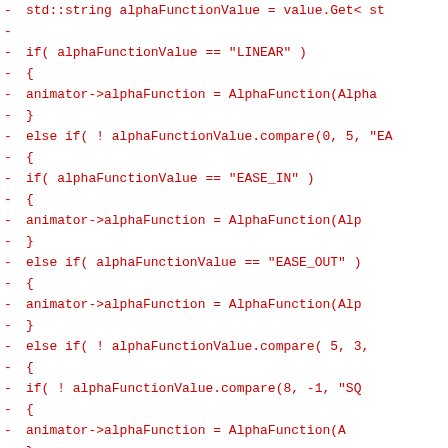Code diff showing removed lines with alphaFunction assignments and comparisons in C++ source code